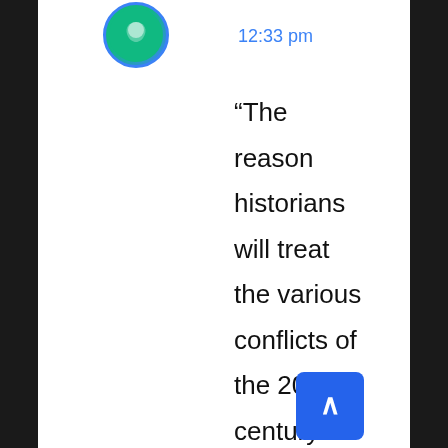[Figure (illustration): Circular avatar icon with teal/green gradient and blue border]
12:33 pm
“The reason historians will treat the various conflicts of the 20th century – the First World War, the Bolshevik Revolution, the Spanish Civil War, the Second World War, the wars